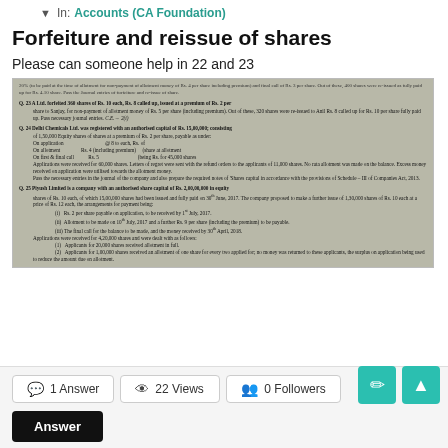In: Accounts (CA Foundation)
Forfeiture and reissue of shares
Please can someone help in 22 and 23
[Figure (photo): Photograph of a textbook page showing questions Q.23, Q.24, and Q.25 about forfeiture and reissue of shares from Accounts (CA Foundation). Question 23 involves A Ltd. forfeiting 360 shares of Rs. 10 each. Question 24 involves Delhi Chemicals Ltd. with authorised capital of Rs. 15,00,000. Question 25 involves Piyush Limited with authorised share capital of Rs. 2,00,00,000 in equity shares of Rs. 10 each.]
1 Answer   22 Views   0 Followers
Answer